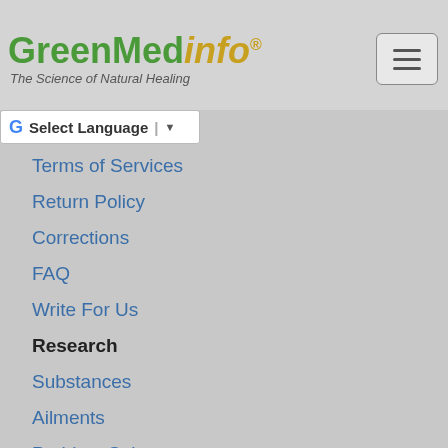GreenMedinfo - The Science of Natural Healing
Select Language
Terms of Services
Return Policy
Corrections
FAQ
Write For Us
Research
Substances
Ailments
Problem Substances
Therapeutic Actions
Problematic Actions
Pharmacological Actions
Adverse Pharmacological Actions
Keywords